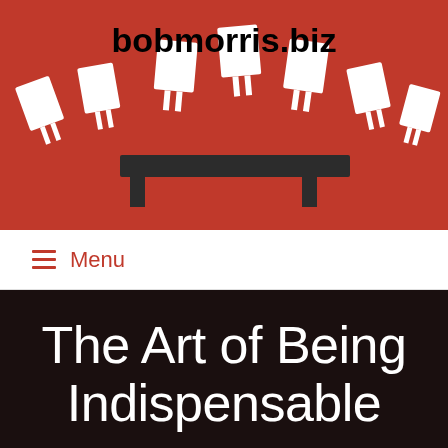[Figure (illustration): Red background illustration with animated white paper/document characters walking on a dark stage/desk, from bobmorris.biz website header]
bobmorris.biz
≡ Menu
The Art of Being Indispensable